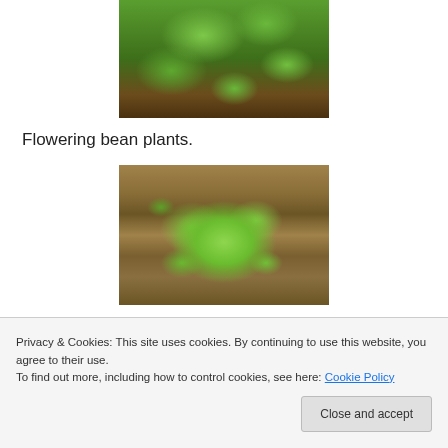[Figure (photo): Close-up photo of green bean plant leaves from above, showing large broad leaves with visible veins on a dark soil background.]
Flowering bean plants.
[Figure (photo): Photo of a young leafy green plant (possibly lettuce or spinach) growing in brown soil/dirt, viewed from above.]
Privacy & Cookies: This site uses cookies. By continuing to use this website, you agree to their use.
To find out more, including how to control cookies, see here: Cookie Policy
Close and accept